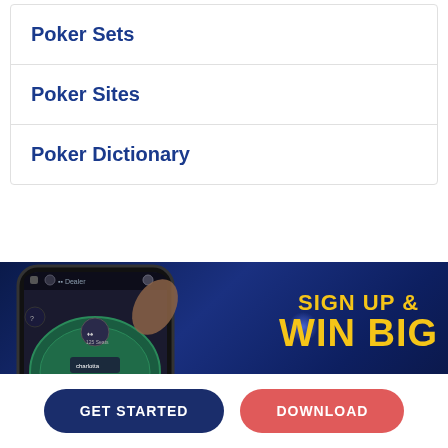Poker Sets
Poker Sites
Poker Dictionary
[Figure (screenshot): Promotional banner for a poker app showing a smartphone displaying a poker game table on screen, with 'SIGN UP & WIN BIG' text in gold/yellow on the right side against a dark navy blue background.]
GET STARTED
DOWNLOAD